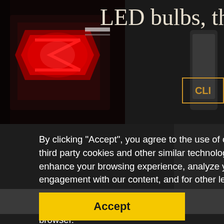[Figure (photo): Car LED tail lights photo, dark red background, partially cropped. Shows glowing red/white LED tail light assembly on dark background.]
LED bulbs, thanks for
By clicking "Accept", you agree to the use of our and third party cookies and other similar technologies to enhance your browsing experience, analyze your engagement with our content, and for other legitimate business purposes. You can withdraw your consent at any time by deleting your cookies through your browser.